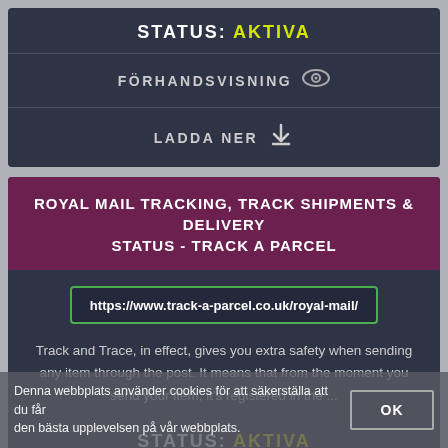STATUS: AKTIVA
FÖRHANDSVISNING
LADDA NER
ROYAL MAIL TRACKING, TRACK SHIPMENTS & DELIVERY STATUS - TRACK A PARCEL
https://www.track-a-parcel.co.uk/royal-mail/
Track and Trace, in effect, gives you extra safety when sending any item through the post. It means that from the moment you send your item, it's registered in the ...
STATUS: AKTIVA
Denna webbplats använder cookies för att säkerställa att du får den bästa upplevelsen på vår webbplats.